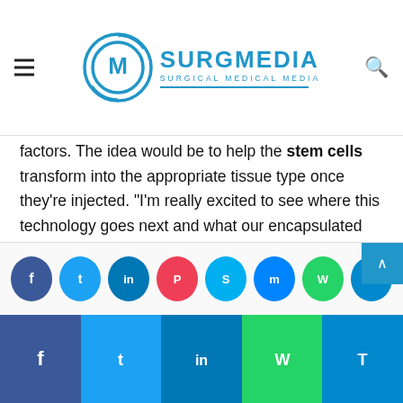SURGMEDIA - Surgical Medical Media
factors. The idea would be to help the stem cells transform into the appropriate tissue type once they're injected. “I’m really excited to see where this technology goes next and what our encapsulated stem cells are capable of.”

The study was published in the journal Lab on a Chip with funding from the Natural Sciences and Engineering Research Council of Canada and the Canadian Foundation for Innovation.
[Figure (other): Social media share buttons row (Facebook, Twitter, LinkedIn, Pocket, Skype, Messenger, WhatsApp, Telegram) and bottom share bar]